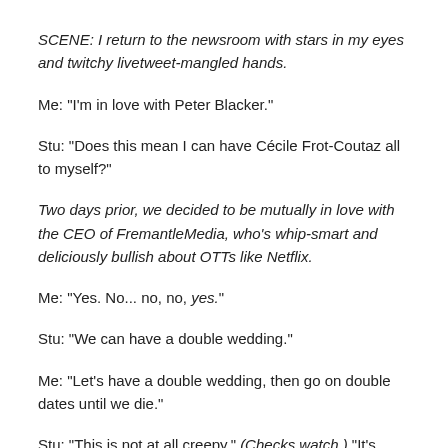SCENE: I return to the newsroom with stars in my eyes and twitchy livetweet-mangled hands.
Me: "I'm in love with Peter Blacker."
Stu: "Does this mean I can have Cécile Frot-Coutaz all to myself?"
Two days prior, we decided to be mutually in love with the CEO of FremantleMedia, who's whip-smart and deliciously bullish about OTTs like Netflix.
Me: "Yes. No... no, no, yes."
Stu: "We can have a double wedding."
Me: "Let's have a double wedding, then go on double dates until we die."
Stu: "This is not at all creepy." (Checks watch.) "It's Katzenberg time." (Smiles apologetically, then checks phone.)